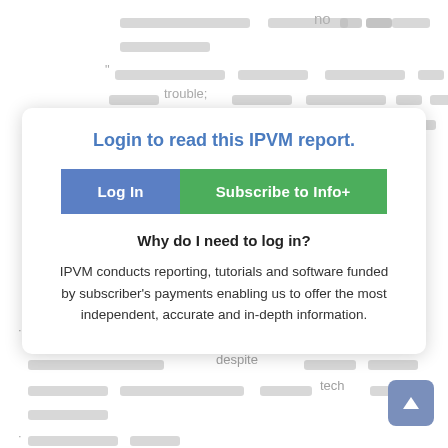[Figure (screenshot): Blurred/redacted background text lines representing obscured article content]
Login to read this IPVM report.
Log In | Subscribe to Info+
Why do I need to log in?
IPVM conducts reporting, tutorials and software funded by subscriber's payments enabling us to offer the most independent, accurate and in-depth information.